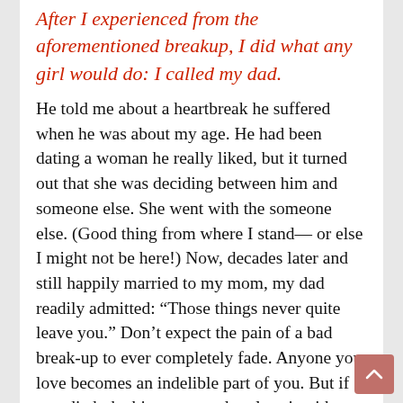After I experienced from the aforementioned breakup, I did what any girl would do: I called my dad.
He told me about a heartbreak he suffered when he was about my age. He had been dating a woman he really liked, but it turned out that she was deciding between him and someone else. She went with the someone else. (Good thing from where I stand— or else I might not be here!) Now, decades later and still happily married to my mom, my dad readily admitted: “Those things never quite leave you.” Don’t expect the pain of a bad break-up to ever completely fade. Anyone you love becomes an indelible part of you. But if you ditch the bitterness and replace it with stronger sense of self, you’ll be on track to make your next relationship better and healthier than the last. Lastly, a bonus track: your body is a wonderland. And